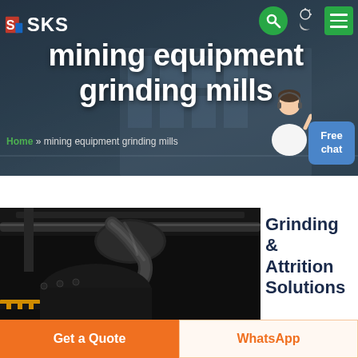[Figure (screenshot): SKS mining equipment website header banner with logo, search button, theme toggle, menu button, main title 'mining equipment grinding mills', breadcrumb navigation, customer service figure, and Free chat button over a factory building background]
mining equipment grinding mills
Home » mining equipment grinding mills
[Figure (photo): Close-up photograph of heavy industrial grinding mill machinery showing dark metal pipes and mechanical components]
Grinding & Attrition Solutions
Get a Quote
WhatsApp